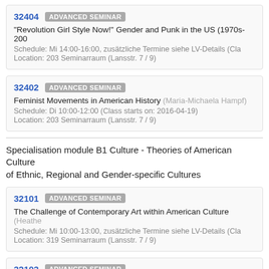32404 ADVANCED SEMINAR
"Revolution Girl Style Now!" Gender and Punk in the US (1970s-200...
Schedule: Mi 14:00-16:00, zusätzliche Termine siehe LV-Details (Cla...
Location: 203 Seminarraum (Lansstr. 7 / 9)
32402 ADVANCED SEMINAR
Feminist Movements in American History (Maria-Michaela Hampf)
Schedule: Di 10:00-12:00 (Class starts on: 2016-04-19)
Location: 203 Seminarraum (Lansstr. 7 / 9)
Specialisation module B1 Culture - Theories of American Culture... of Ethnic, Regional and Gender-specific Cultures
32101 ADVANCED SEMINAR
The Challenge of Contemporary Art within American Culture (Heathe...
Schedule: Mi 10:00-13:00, zusätzliche Termine siehe LV-Details (Cla...
Location: 319 Seminarraum (Lansstr. 7 / 9)
32103 ADVANCED SEMINAR
American Alienation: Discontent and Disappointment in U.S. Culture...
Schedule: Di 12:00-14:00 (Class starts on: 2016-04-19)